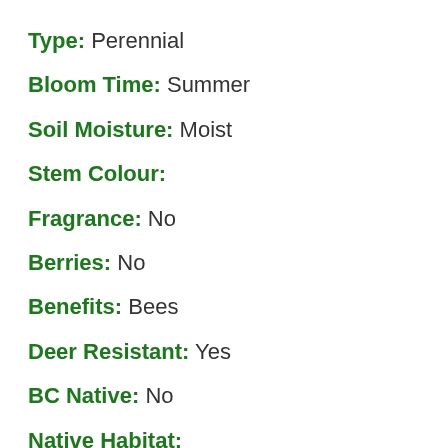Type: Perennial
Bloom Time: Summer
Soil Moisture: Moist
Stem Colour:
Fragrance: No
Berries: No
Benefits: Bees
Deer Resistant: Yes
BC Native: No
Native Habitat: